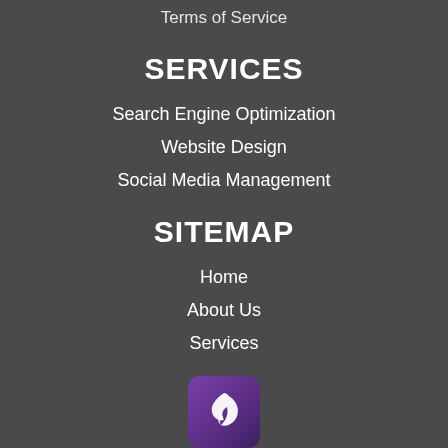Terms of Service
SERVICES
Search Engine Optimization
Website Design
Social Media Management
SITEMAP
Home
About Us
Services
[Figure (logo): Purple rounded square logo with white stylized flame/swirl icon]